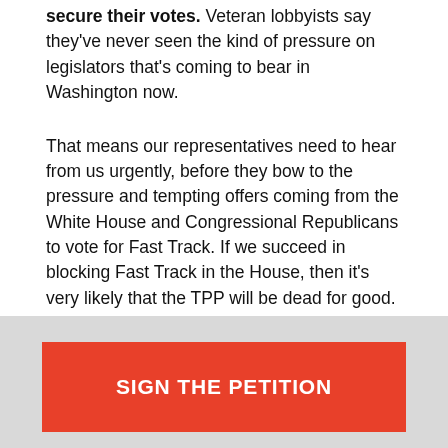secure their votes. Veteran lobbyists say they've never seen the kind of pressure on legislators that's coming to bear in Washington now.
That means our representatives need to hear from us urgently, before they bow to the pressure and tempting offers coming from the White House and Congressional Republicans to vote for Fast Track. If we succeed in blocking Fast Track in the House, then it's very likely that the TPP will be dead for good.
Send a message to your Representative,
SIGN THE PETITION